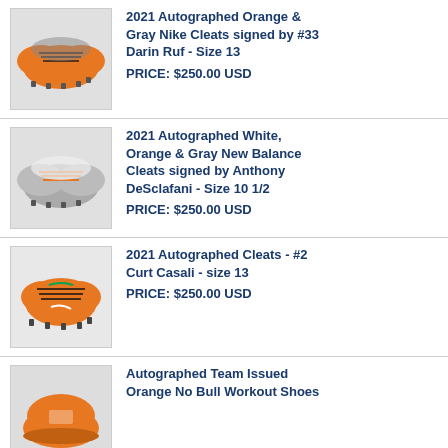2021 Autographed Orange & Gray Nike Cleats signed by #33 Darin Ruf - Size 13
PRICE: $250.00 USD
2021 Autographed White, Orange & Gray New Balance Cleats signed by Anthony DeSclafani - Size 10 1/2
PRICE: $250.00 USD
2021 Autographed Cleats - #2 Curt Casali - size 13
PRICE: $250.00 USD
Autographed Team Issued Orange No Bull Workout Shoes